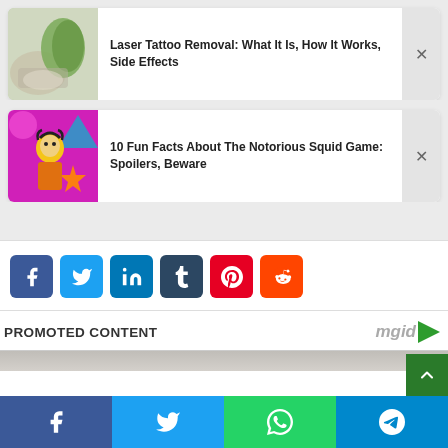[Figure (screenshot): Article card: Laser Tattoo Removal thumbnail image (hand/ankle with green gloves)]
Laser Tattoo Removal: What It Is, How It Works, Side Effects
[Figure (screenshot): Article card: 10 Fun Facts About The Notorious Squid Game thumbnail (doll character on colorful background)]
10 Fun Facts About The Notorious Squid Game: Spoilers, Beware
[Figure (infographic): Social share buttons: Facebook, Twitter, LinkedIn, Tumblr, Pinterest, Reddit]
PROMOTED CONTENT
[Figure (logo): mgid logo with green arrow]
[Figure (photo): Promoted content image strip (partially visible)]
[Figure (infographic): Bottom share bar: Facebook, Twitter, WhatsApp, Telegram buttons]